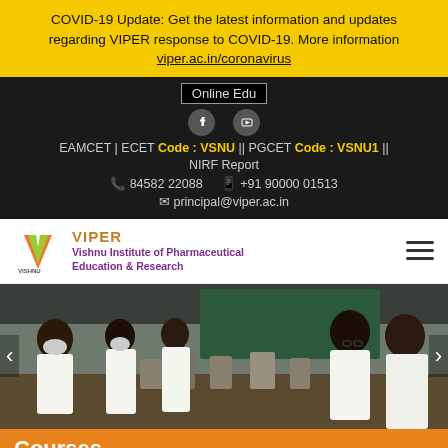COVID-19 Update: Get the latest information and updates regarding VIPER response to COVID-19. More information viper.ac.in/coronavirus
Online Edu
EAMCET | ECET Code : VSNU || PGCET Code : VSNU1 || NIRF Report
84582 22088   +91 90000 01513
principal@viper.ac.in
[Figure (logo): VIPER - Vishnu Institute of Pharmaceutical Education & Research logo with Vishnu branding]
[Figure (photo): Students in white lab coats working at laboratory benches with equipment]
Courses
Flash News
Annual Reports